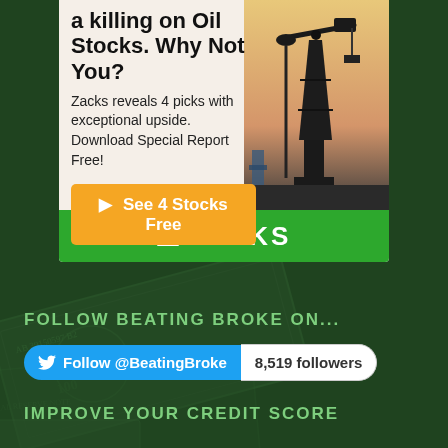[Figure (illustration): Background of US dollar bills spread out, tinted dark green overlay]
[Figure (infographic): Zacks advertisement box with oil pump jack photo on right side, headline text on left, orange CTA button, and green Zacks logo bar at bottom]
a killing on Oil Stocks. Why Not You?
Zacks reveals 4 picks with exceptional upside. Download Special Report Free!
▶ See 4 Stocks Free
▲ ZACKS
FOLLOW BEATING BROKE ON...
Follow @BeatingBroke  8,519 followers
IMPROVE YOUR CREDIT SCORE